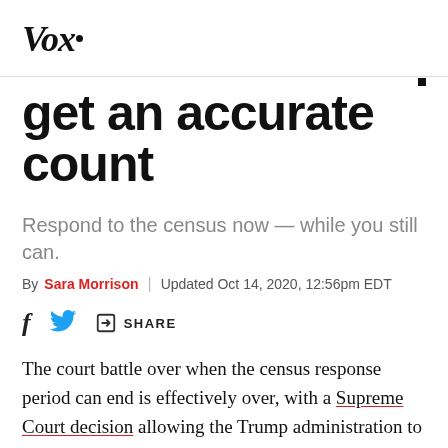Vox
get an accurate count
Respond to the census now — while you still can.
By Sara Morrison | Updated Oct 14, 2020, 12:56pm EDT
[Figure (other): Social share bar with Facebook, Twitter, and share link icons]
The court battle over when the census response period can end is effectively over, with a Supreme Court decision allowing the Trump administration to end it whenever it so chooses — and it has chosen October 15. Door-to-door field operations will end that day, while the internet self-response